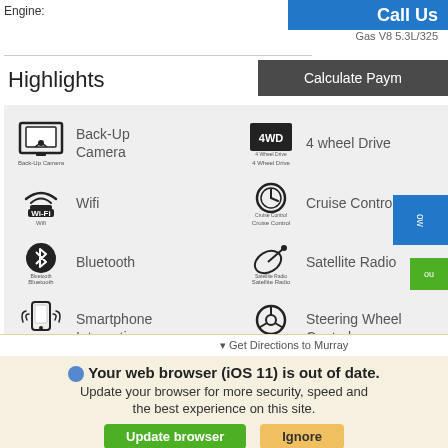Engine:
Gas V8 5.3L/325
Call Us
Calculate Paym
Highlights
Back-Up Camera
Wifi
Bluetooth
Smartphone Integration
Anti Lock Braking System
4 wheel Drive
Cruise Control
Satellite Radio
Steering Wheel Controls
Get Directions to Murray
Your web browser (iOS 11) is out of date. Update your browser for more security, speed and the best experience on this site.